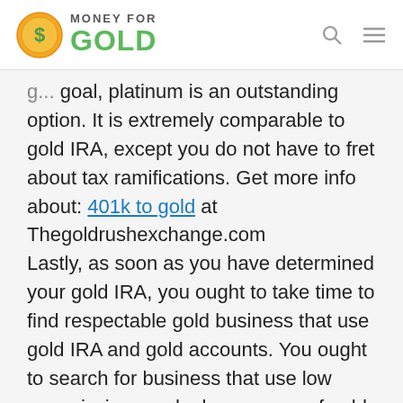[Figure (logo): Money For Gold logo with a gold coin icon on the left and text 'MONEY FOR GOLD' on the right, green color for GOLD]
goal, platinum is an outstanding option. It is extremely comparable to gold IRA, except you do not have to fret about tax ramifications. Get more info about: 401k to gold at Thegoldrushexchange.com Lastly, as soon as you have determined your gold IRA, you ought to take time to find respectable gold business that use gold IRA and gold accounts. You ought to search for business that use low commissions and a large range of gold items. Research study